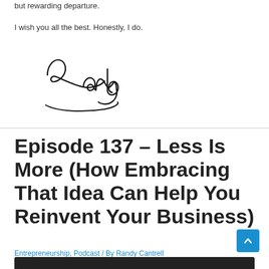but rewarding departure.
I wish you all the best. Honestly, I do.
[Figure (illustration): Handwritten cursive signature reading 'Randy' with a flourish underline]
Episode 137 – Less Is More (How Embracing That Idea Can Help You Reinvent Your Business)
Entrepreneurship, Podcast / By Randy Cantrell